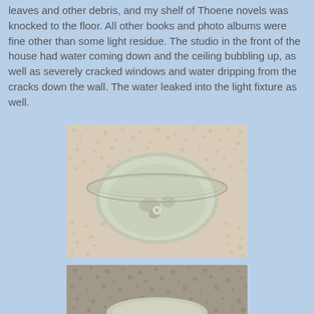leaves and other debris, and my shelf of Thoene novels was knocked to the floor.  All other books and photo albums were fine other than some light residue.  The studio in the front of the house  had water coming down and the ceiling bubbling up, as well as severely cracked windows and water dripping from the cracks down the wall.  The water leaked into the light fixture as well.
[Figure (photo): Photo of a ceiling-mounted light fixture (dome/flush-mount style) with visible water damage or staining inside the frosted glass globe. The ceiling has a textured popcorn finish.]
[Figure (photo): Partial photo showing a close-up of textured surface (possibly ceiling or wall) with a light fixture partially visible at the bottom, showing water damage.]